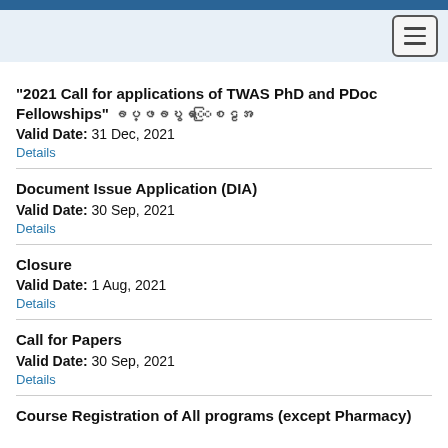Navigation bar with hamburger menu
“2021 Call for applications of TWAS PhD and PDoc Fellowships” အပ္ပာအနိုအခြသင်
Valid Date: 31 Dec, 2021
Details
Document Issue Application (DIA)
Valid Date: 30 Sep, 2021
Details
Closure
Valid Date: 1 Aug, 2021
Details
Call for Papers
Valid Date: 30 Sep, 2021
Details
Course Registration of All programs (except Pharmacy) for Trimester/Fall 2021